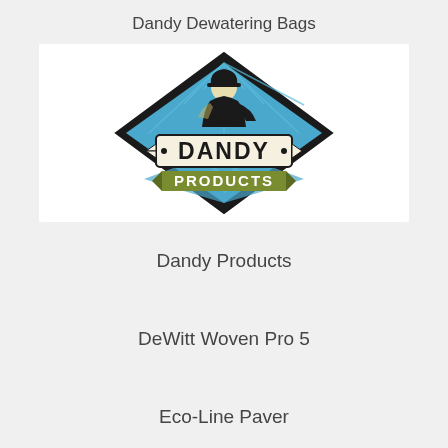Dandy Dewatering Bags
[Figure (logo): Dandy Products logo: diamond shape with figure of a man in a cap, blue rays background, 'DANDY' in bold letters on a banner, 'PRODUCTS' on an olive-green ribbon banner below.]
Dandy Products
DeWitt Woven Pro 5
Eco-Line Paver